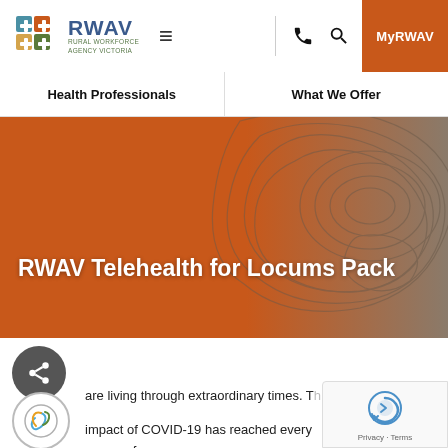[Figure (screenshot): RWAV (Rural Workforce Agency Victoria) website screenshot showing navigation bar with logo, hamburger menu, phone icon, search icon, MyRWAV button, secondary nav with Health Professionals and What We Offer, a hero banner with RWAV Telehealth for Locums Pack title on orange background with topographic map overlay, share button, accessibility icon, body text about COVID-19, and a reCAPTCHA widget.]
RWAV Telehealth for Locums Pack
are living through extraordinary times. The impact of COVID-19 has reached every corner of